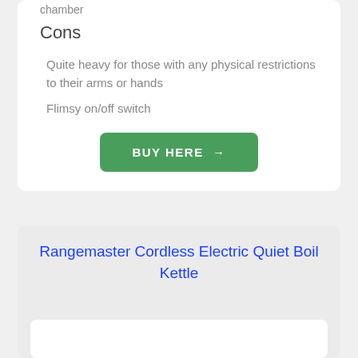chamber
Cons
Quite heavy for those with any physical restrictions to their arms or hands
Flimsy on/off switch
BUY HERE →
Rangemaster Cordless Electric Quiet Boil Kettle